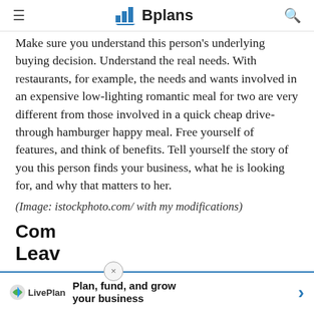≡  Bplans  🔍
Make sure you understand this person's underlying buying decision. Understand the real needs. With restaurants, for example, the needs and wants involved in an expensive low-lighting romantic meal for two are very different from those involved in a quick cheap drive-through hamburger happy meal. Free yourself of features, and think of benefits. Tell yourself the story of you this person finds your business, what he is looking for, and why that matters to her.
(Image: istockphoto.com/ with my modifications)
Com...
Leav...
Plan, fund, and grow your business